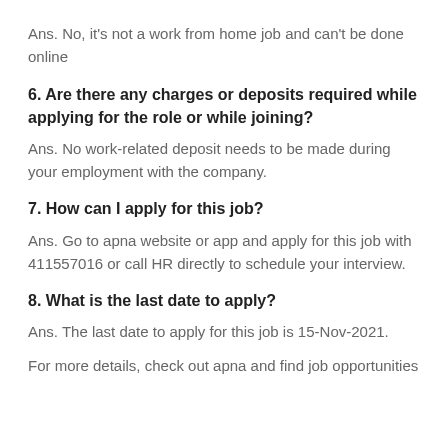Ans. No, it's not a work from home job and can't be done online
6. Are there any charges or deposits required while applying for the role or while joining?
Ans. No work-related deposit needs to be made during your employment with the company.
7. How can I apply for this job?
Ans. Go to apna website or app and apply for this job with 411557016 or call HR directly to schedule your interview.
8. What is the last date to apply?
Ans. The last date to apply for this job is 15-Nov-2021.
For more details, check out apna and find job opportunities